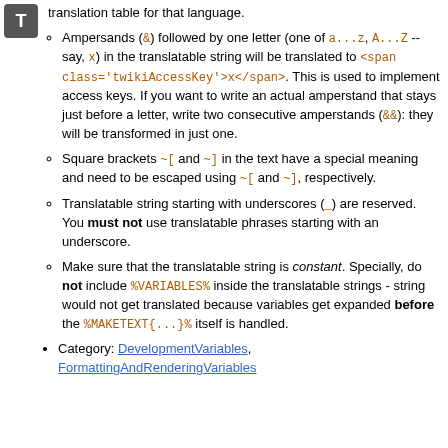translation table for that language.
Ampersands (&) followed by one letter (one of a...z, A...Z -- say, x) in the translatable string will be translated to <span class='twikiAccessKey'>x</span>. This is used to implement access keys. If you want to write an actual amperstand that stays just before a letter, write two consecutive amperstands (&&): they will be transformed in just one.
Square brackets ~[ and ~] in the text have a special meaning and need to be escaped using ~[ and ~], respectively.
Translatable string starting with underscores (_) are reserved. You must not use translatable phrases starting with an underscore.
Make sure that the translatable string is constant. Specially, do not include %VARIABLES% inside the translatable strings - string would not get translated because variables get expanded before the %MAKETEXT{...}% itself is handled.
Category: DevelopmentVariables, FormattingAndRenderingVariables